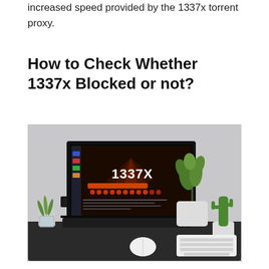increased speed provided by the 1337x torrent proxy.
How to Check Whether 1337x Blocked or not?
[Figure (photo): A laptop on a dark desk displaying the 1337X torrent website with its orange-themed interface. Two potted green plants and a small cactus are visible on the desk, along with a white wireless keyboard and mouse.]
There are times when you may not be aware of the